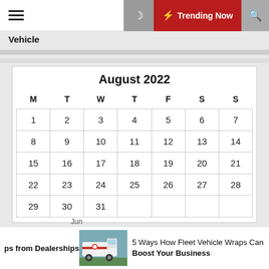Vehicle | Trending Now
| M | T | W | T | F | S | S |
| --- | --- | --- | --- | --- | --- | --- |
| 1 | 2 | 3 | 4 | 5 | 6 | 7 |
| 8 | 9 | 10 | 11 | 12 | 13 | 14 |
| 15 | 16 | 17 | 18 | 19 | 20 | 21 |
| 22 | 23 | 24 | 25 | 26 | 27 | 28 |
| 29 | 30 | 31 |  |  |  |  |
ps from Dealerships
[Figure (photo): A white fleet vehicle van with graphics wrap parked outdoors]
5 Ways How Fleet Vehicle Wraps Can Boost Your Business